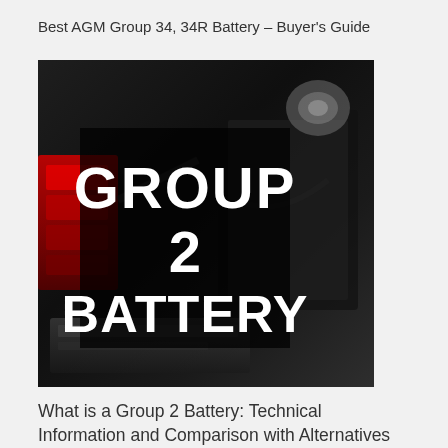Best AGM Group 34, 34R Battery – Buyer's Guide
[Figure (photo): A car battery image with a dark semi-transparent overlay containing bold white text reading GROUP 2 BATTERY. The background shows car battery parts with a red component visible on the left side.]
What is a Group 2 Battery: Technical Information and Comparison with Alternatives